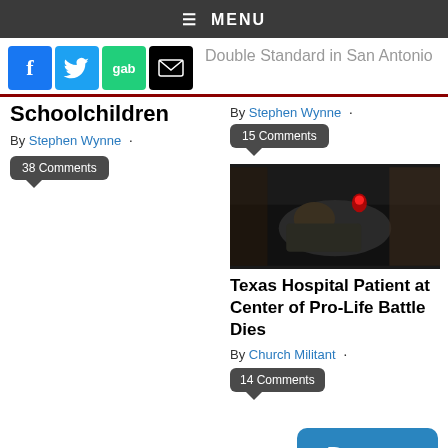≡ MENU
[Figure (logo): Social sharing icons: Facebook, Twitter, Gab, Email]
Double Standard in San Antonio
Schoolchildren
By Stephen Wynne
38 Comments
By Stephen Wynne
15 Comments
[Figure (photo): Hospital patient in a dark room with medical equipment]
Texas Hospital Patient at Center of Pro-Life Battle Dies
By Church Militant
14 Comments
RECOMMENDED SHOWS
Donate